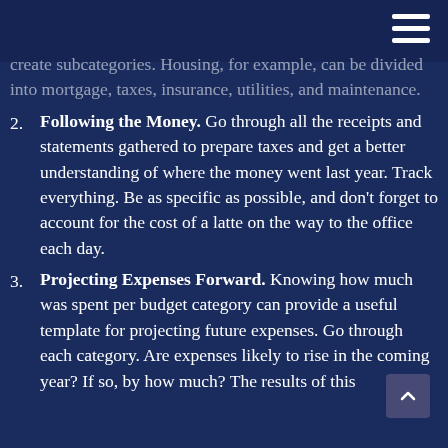create subcategories. Housing, for example, can be divided into mortgage, taxes, insurance, utilities, and maintenance.
Following the Money. Go through all the receipts and statements gathered to prepare taxes and get a better understanding of where the money went last year. Track everything. Be as specific as possible, and don't forget to account for the cost of a latte on the way to the office each day.
Projecting Expenses Forward. Knowing how much was spent per budget category can provide a useful template for projecting future expenses. Go through each category. Are expenses likely to rise in the coming year? If so, by how much? The results of this